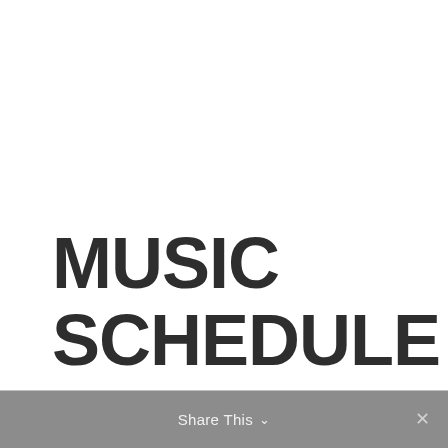MUSIC SCHEDULE
Share This ∨  ×